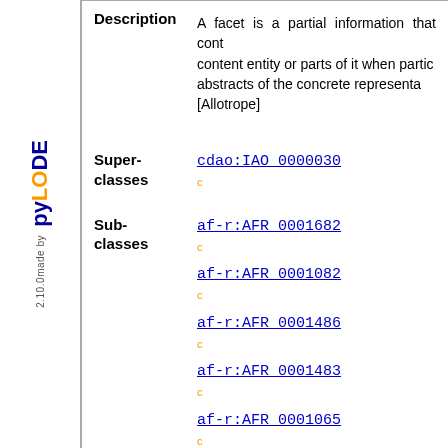made by pyLODE 2.10.0
Description
A facet is a partial information that cont... content entity or parts of it when partic... abstracts of the concrete representa... [Allotrope]
Super-classes
cdao:IAO_0000030 c
af-r:AFR_0001682 c
af-r:AFR_0001082 c
af-r:AFR_0001486 c
af-r:AFR_0001483 c
af-r:AFR_0001065 c
af-r:AFR_0001490 c
family name c
# Classes
URI   http://purl.allotrope.org/ont